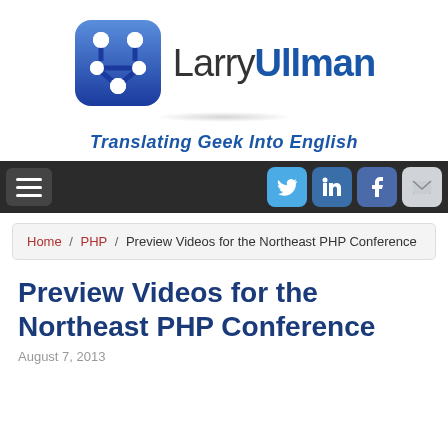[Figure (logo): LarryUllman website logo: blue rounded-square icon with circuit/node design, text 'Larry' in dark gray and 'Ullman' in bold blue]
Translating Geek Into English
Navigation bar with hamburger menu and social icons: Twitter, LinkedIn, Facebook, Email
Home / PHP / Preview Videos for the Northeast PHP Conference
Preview Videos for the Northeast PHP Conference
August 7, 2013